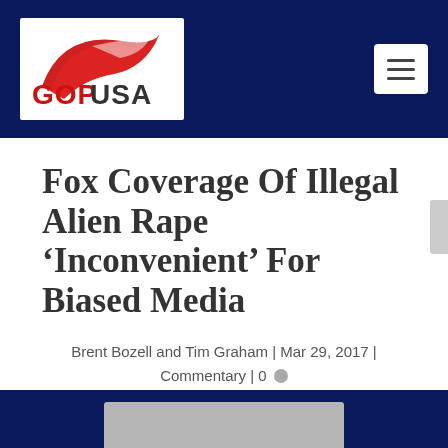GOPUSA
Fox Coverage Of Illegal Alien Rape ‘Inconvenient’ For Biased Media
Brent Bozell and Tim Graham | Mar 29, 2017 | Commentary | 0
[Figure (photo): Bottom partial image showing a thumbnail strip against a dark navy blue background]